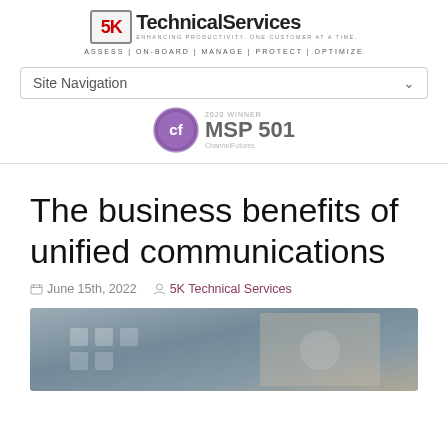[Figure (logo): 5K Technical Services logo with tagline 'Enhancing Productivity. One Customer at a Time.' and navigation bar: ASSESS | ON-BOARD | MANAGE | PROTECT | OPTIMIZE]
[Figure (logo): 2020 Winner MSP 501 Channel Futures award badge with purple circular CF icon]
Site Navigation
The business benefits of unified communications
June 15th, 2022   5K Technical Services
[Figure (photo): Photo of hands touching a digital interface screen with communication icons]